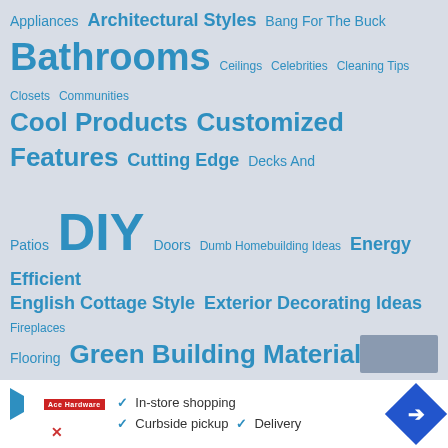[Figure (infographic): Tag cloud with home/DIY blog category tags in varying font sizes in blue on gray background. Tags include: Appliances, Architectural Styles, Bang For The Buck, Bathrooms, Ceilings, Celebrities, Cleaning Tips, Closets, Communities, Cool Products, Customized Features, Cutting Edge, Decks And Patios, DIY, Doors, Dumb Homebuilding Ideas, Energy Efficient, English Cottage Style, Exterior Decorating Ideas, Fireplaces, Flooring, Green Building Materials, Green Homes, Green Products, Hardscape, Hip And Historical, Holidays And Special Occasions, Home And Garden Tours, Home Maintenance, Insulation, Interior Decorating Ideas, Kitchens, Landscape Ideas, Lighting, Money Saving Tips, Paint, Recycled Materials, Remodeling, Roofing, Showers, Storage And Organization, Toilets, Walls, Water, Windows]
[Figure (infographic): Advertisement banner at bottom with play button icon, X icon, brand logo (Ace Hardware), checkmarks listing In-store shopping, Curbside pickup, Delivery, and a blue diamond direction arrow icon]